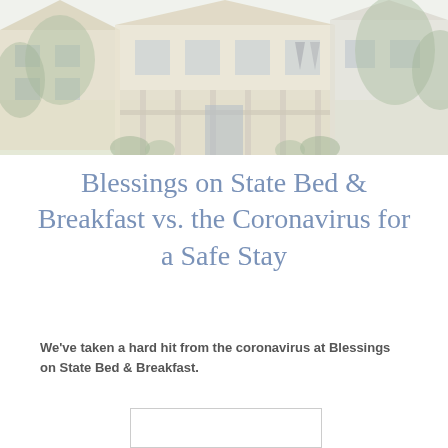[Figure (photo): Exterior photo of a Victorian-style bed and breakfast house with a porch, trees, and shrubs, shown in a faded/washed-out style]
Blessings on State Bed & Breakfast vs. the Coronavirus for a Safe Stay
We've taken a hard hit from the coronavirus at Blessings on State Bed & Breakfast.
[Figure (other): Empty white rectangle with a light gray border, likely a placeholder for an image or video]